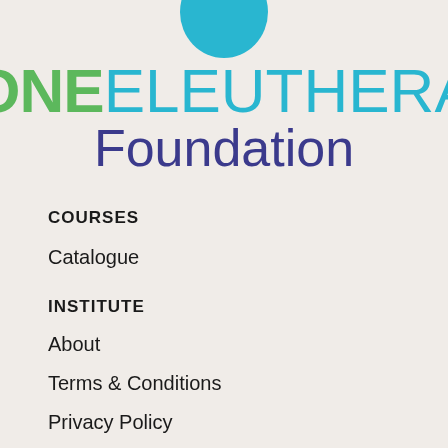[Figure (logo): One Eleuthera Foundation logo with teal oval shape at top, green ONE and teal ELEUTHERA text on first line, purple Foundation text on second line]
COURSES
Catalogue
INSTITUTE
About
Terms & Conditions
Privacy Policy